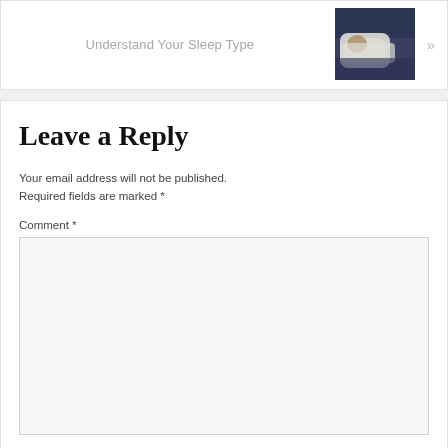Understand Your Sleep Type »
[Figure (photo): Photo of a person sleeping in bed with white sheets, dark toned image]
Leave a Reply
Your email address will not be published. Required fields are marked *
Comment *